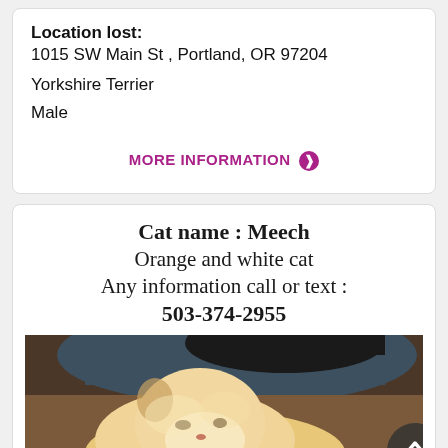Location lost: 1015 SW Main St , Portland, OR 97204
Yorkshire Terrier
Male
MORE INFORMATION ❯
Cat name : Meech
Orange and white cat
Any information call or text :
503-374-2955
[Figure (photo): Photo of an orange and white cat being held by a person, shown from above. The cat appears fluffy and is looking downward.]